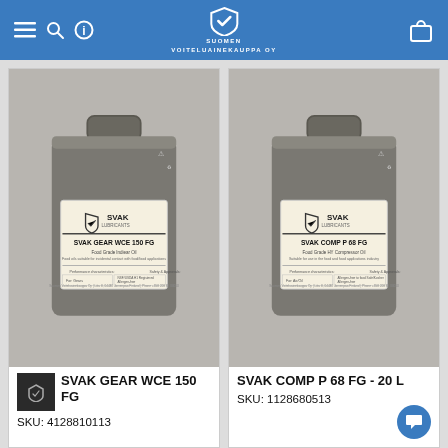Suomen Voiteluainekauppa OY
[Figure (photo): SVAK GEAR WCE 150 FG - grey 20L canister with SVAK label showing Food Grade Indiear Oil]
SVAK GEAR WCE 150 FG
SKU: 4128810113
[Figure (photo): SVAK COMP P 68 FG - grey 20L canister with SVAK label showing Food Grade HY Compressor Oil]
SVAK COMP P 68 FG - 20 L
SKU: 1128680513